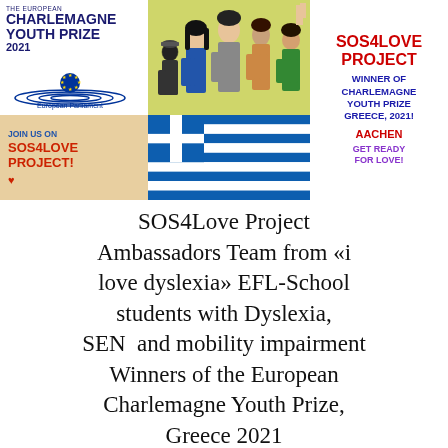[Figure (illustration): Composite banner image: left side shows The European Charlemagne Youth Prize 2021 logo with European Parliament emblem, 'JOIN US ON SOS4LOVE PROJECT!' text on beige background, and a yellow-green illustration of diverse people. Bottom center shows Greek flag. Right column text reads: SOS4LOVE PROJECT, WINNER OF CHARLEMAGNE YOUTH PRIZE GREECE, 2021! AACHEN GET READY FOR LOVE!]
SOS4Love Project Ambassadors Team from «i love dyslexia» EFL-School students with Dyslexia, SEN  and mobility impairment Winners of the European Charlemagne Youth Prize, Greece 2021